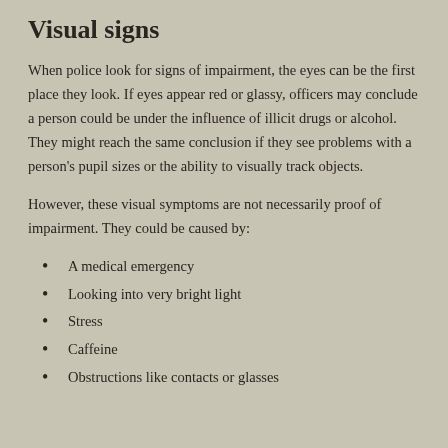Visual signs
When police look for signs of impairment, the eyes can be the first place they look. If eyes appear red or glassy, officers may conclude a person could be under the influence of illicit drugs or alcohol. They might reach the same conclusion if they see problems with a person's pupil sizes or the ability to visually track objects.
However, these visual symptoms are not necessarily proof of impairment. They could be caused by:
A medical emergency
Looking into very bright light
Stress
Caffeine
Obstructions like contacts or glasses